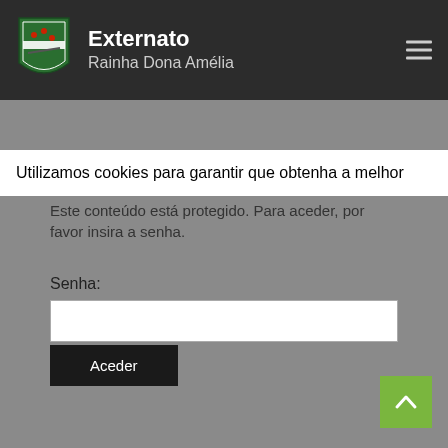[Figure (logo): Shield-shaped school logo with green background and white/red design elements for Externato Rainha Dona Amélia]
Externato
Rainha Dona Amélia
Este conteúdo está protegido. Para aceder, por favor insira a senha.
Utilizamos cookies para garantir que obtenha a melhor
Senha:
Aceder